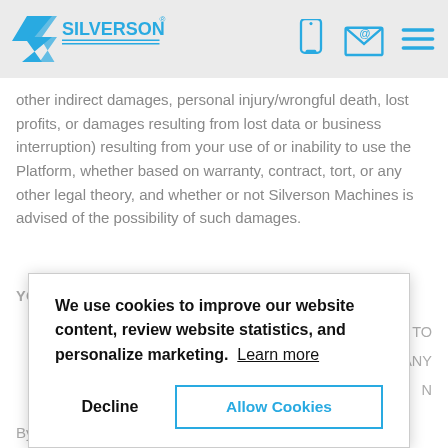Silverson logo and navigation icons
other indirect damages, personal injury/wrongful death, lost profits, or damages resulting from lost data or business interruption) resulting from your use of or inability to use the Platform, whether based on warranty, contract, tort, or any other legal theory, and whether or not Silverson Machines is advised of the possibility of such damages.
YOUR SOLE AND EXCLUSIVE REMEDY FOR ANY
TO ANY
N
We use cookies to improve our website content, review website statistics, and personalize marketing. Learn more
Decline  Allow Cookies
By using the Platform, you and Silverson Machines agree